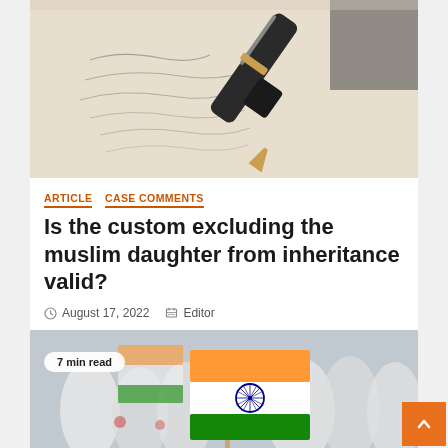[Figure (photo): Close-up of a fountain pen resting on paper with handwritten cursive text]
ARTICLE   CASE COMMENTS
Is the custom excluding the muslim daughter from inheritance valid?
August 17, 2022   Editor
[Figure (photo): People in white clothes holding Indian tricolor flags, 7 min read badge visible]